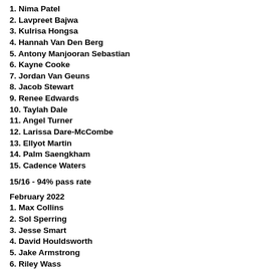1. Nima Patel
2. Lavpreet Bajwa
3. Kulrisa Hongsa
4. Hannah Van Den Berg
5. Antony Manjooran Sebastian
6. Kayne Cooke
7. Jordan Van Geuns
8. Jacob Stewart
9. Renee Edwards
10. Taylah Dale
11. Angel Turner
12. Larissa Dare-McCombe
13. Ellyot Martin
14. Palm Saengkham
15. Cadence Waters
15/16 - 94% pass rate
February 2022
1. Max Collins
2. Sol Sperring
3. Jesse Smart
4. David Houldsworth
5. Jake Armstrong
6. Riley Wass
7. Jacob Lough
8. Jared Taylor
9. Nicholas Walter
10. Allan Hoffman
11. Sean Dodd